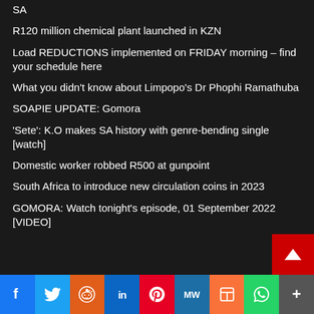SA
R120 million chemical plant launched in KZN
Load REDUCTIONS implemented on FRIDAY morning – find your schedule here
What you didn't know about Limpopo's Dr Phophi Ramathuba
SOAPIE UPDATE: Gomora
'Sete': K.O makes SA history with genre-bending single [watch]
Domestic worker robbed R500 at gunpoint
South Africa to introduce new circulation coins in 2023
GOMORA: Watch tonight's episode, 01 September 2022 [VIDEO]